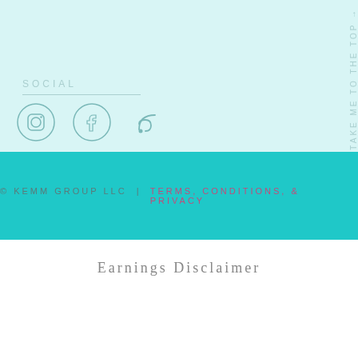SOCIAL
[Figure (illustration): Social media icons: Instagram circle icon, Facebook circle icon, RSS feed icon]
TAKE ME TO THE TOP
© KEMM GROUP LLC | TERMS, CONDITIONS, & PRIVACY
Earnings Disclaimer